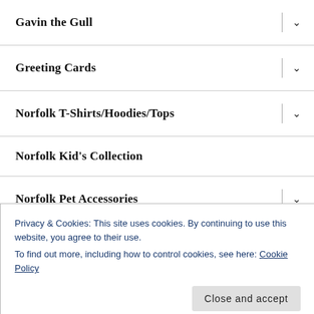Gavin the Gull
Greeting Cards
Norfolk T-Shirts/Hoodies/Tops
Norfolk Kid's Collection
Norfolk Pet Accessories
Sailing Norfolk Merchandise
Privacy & Cookies: This site uses cookies. By continuing to use this website, you agree to their use.
To find out more, including how to control cookies, see here: Cookie Policy
Contact